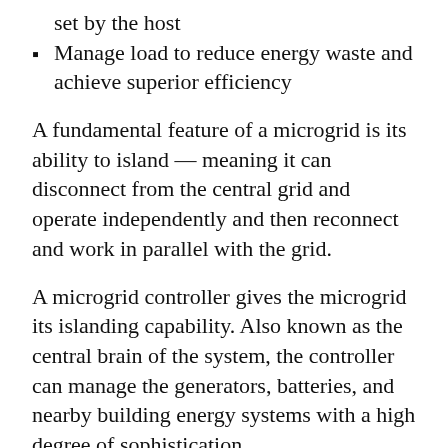set by the host
Manage load to reduce energy waste and achieve superior efficiency
A fundamental feature of a microgrid is its ability to island — meaning it can disconnect from the central grid and operate independently and then reconnect and work in parallel with the grid.
A microgrid controller gives the microgrid its islanding capability. Also known as the central brain of the system, the controller can manage the generators, batteries, and nearby building energy systems with a high degree of sophistication.